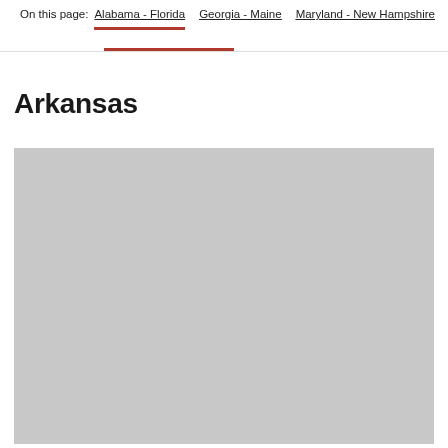On this page: Alabama - Florida | Georgia - Maine | Maryland - New Hampshire
Arkansas
[Figure (map): Gray placeholder map image for Arkansas]